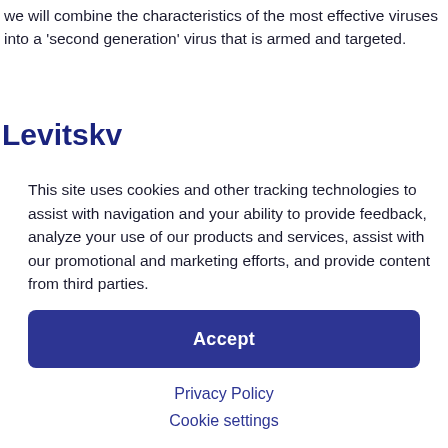we will combine the characteristics of the most effective viruses into a ‘second generation’ virus that is armed and targeted.
Levitskv
This site uses cookies and other tracking technologies to assist with navigation and your ability to provide feedback, analyze your use of our products and services, assist with our promotional and marketing efforts, and provide content from third parties.
Accept
Privacy Policy
Cookie settings